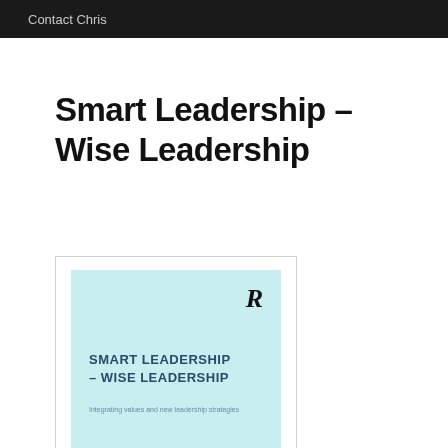Contact Chris
Smart Leadership – Wise Leadership
[Figure (illustration): Book cover of 'Smart Leadership – Wise Leadership' published by Routledge (indicated by stylized R logo). Light blue/cyan background cover with title text in dark blue uppercase letters and a faint subtitle line below.]